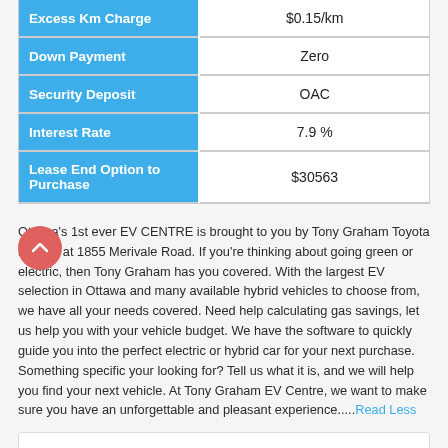| Field | Value |
| --- | --- |
| Excess Km Charge | $0.15/km |
| Down Payment | Zero |
| Security Deposit | OAC |
| Interest Rate | 7.9 % |
| Lease End Option to Purchase | $30563 |
Ottawa's 1st ever EV CENTRE is brought to you by Tony Graham Toyota located at 1855 Merivale Road. If you're thinking about going green or electric, then Tony Graham has you covered. With the largest EV selection in Ottawa and many available hybrid vehicles to choose from, we have all your needs covered. Need help calculating gas savings, let us help you with your vehicle budget. We have the software to quickly guide you into the perfect electric or hybrid car for your next purchase. Something specific your looking for? Tell us what it is, and we will help you find your next vehicle. At Tony Graham EV Centre, we want to make sure you have an unforgettable and pleasant experience.....Read Less